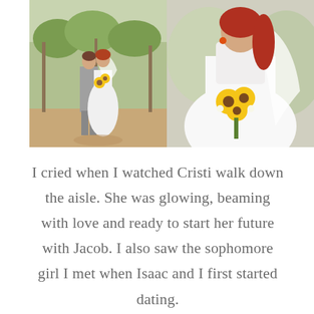[Figure (photo): Two wedding photos side by side. Left: couple kissing in a vineyard, groom in grey suit, bride in white dress holding sunflowers. Right: close-up of bride with red hair holding a bouquet of sunflowers.]
I cried when I watched Cristi walk down the aisle. She was glowing, beaming with love and ready to start her future with Jacob. I also saw the sophomore girl I met when Isaac and I first started dating.